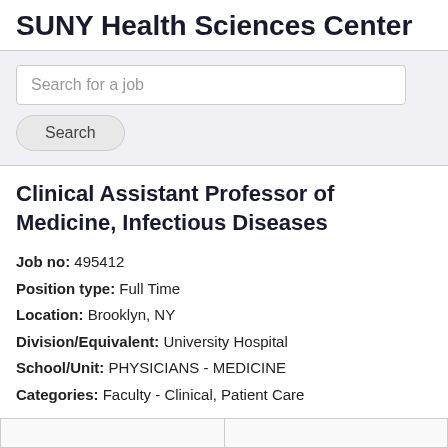SUNY Health Sciences Center
Search for a job
Clinical Assistant Professor of Medicine, Infectious Diseases
Job no: 495412
Position type: Full Time
Location: Brooklyn, NY
Division/Equivalent: University Hospital
School/Unit: PHYSICIANS - MEDICINE
Categories: Faculty - Clinical, Patient Care
Apply now